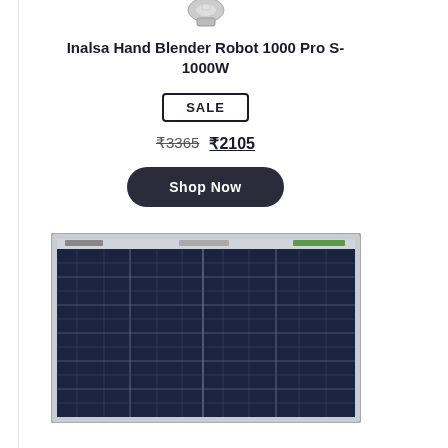[Figure (photo): Partial view of a hand blender product at the top of the page]
Inalsa Hand Blender Robot 1000 Pro S-1000W
SALE
₹3365 ₹2105
Shop Now
[Figure (photo): Loom Solar solar panel product image showing a dark blue photovoltaic panel with grid cells]